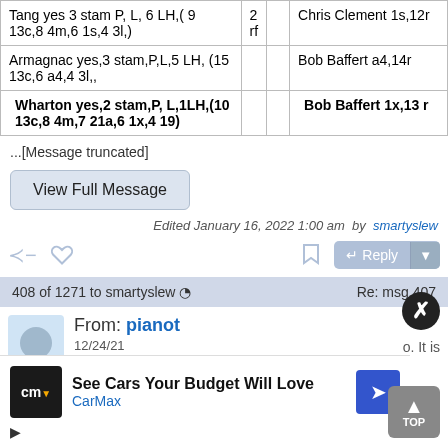| Description | Num |  | Trainer |
| --- | --- | --- | --- |
| Tang yes 3 stam P, L, 6 LH,( 9 13c,8 4m,6 1s,4 3l,) | 2 rf |  | Chris Clement 1s,12r |
| Armagnac yes,3 stam,P,L,5 LH, (15 13c,6 a4,4 3l,, |  |  | Bob Baffert a4,14r |
| Wharton yes,2 stam,P, L,1LH,(10 13c,8 4m,7 21a,6 1x,4 19) |  |  | Bob Baffert 1x,13 r |
...[Message truncated]
View Full Message
Edited January 16, 2022 1:00 am  by  smartyslew
408 of 1271 to smartyslew   Re: msg 407
From: pianot
12/24/21
[Figure (screenshot): CarMax advertisement: See Cars Your Budget Will Love]
o. It is